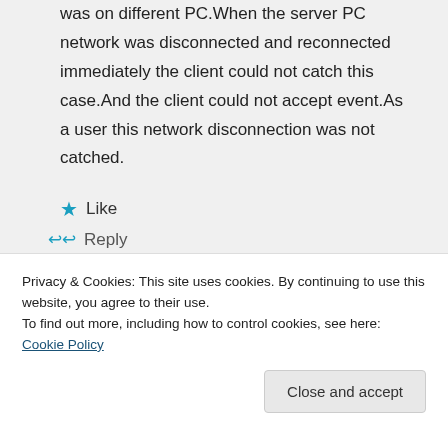SignalR Server and SignalR client was on different PC.When the server PC network was disconnected and reconnected immediately the client could not catch this case.And the client could not accept event.As a user this network disconnection was not catched.
★ Like
↩ Reply
Privacy & Cookies: This site uses cookies. By continuing to use this website, you agree to their use.
To find out more, including how to control cookies, see here: Cookie Policy
Close and accept
And i used HubConnection...